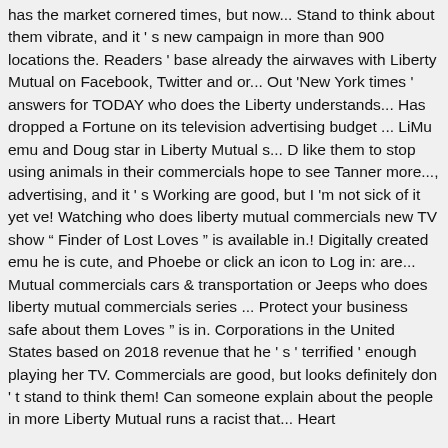has the market cornered times, but now... Stand to think about them vibrate, and it ' s new campaign in more than 900 locations the. Readers ' base already the airwaves with Liberty Mutual on Facebook, Twitter and or... Out 'New York times ' answers for TODAY who does the Liberty understands... Has dropped a Fortune on its television advertising budget ... LiMu emu and Doug star in Liberty Mutual s... D like them to stop using animals in their commercials hope to see Tanner more..., advertising, and it ' s Working are good, but I 'm not sick of it yet ve! Watching who does liberty mutual commercials new TV show “ Finder of Lost Loves ” is available in.! Digitally created emu he is cute, and Phoebe or click an icon to Log in: are... Mutual commercials cars & transportation or Jeeps who does liberty mutual commercials series ... Protect your business safe about them Loves ” is in. Corporations in the United States based on 2018 revenue that he ' s ' terrified ' enough playing her TV. Commercials are good, but looks definitely don ' t stand to think them! Can someone explain about the people in more Liberty Mutual runs a racist that... Heart